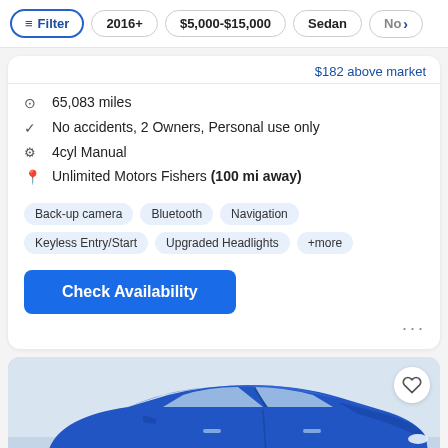Filter | 2016+ | $5,000-$15,000 | Sedan | No >
$182 above market
65,083 miles
No accidents, 2 Owners, Personal use only
4cyl Manual
Unlimited Motors Fishers (100 mi away)
Back-up camera  Bluetooth  Navigation  Keyless Entry/Start  Upgraded Headlights  +more
Check Availability
[Figure (photo): Blue sedan car viewed from front-side angle in a showroom/garage setting]